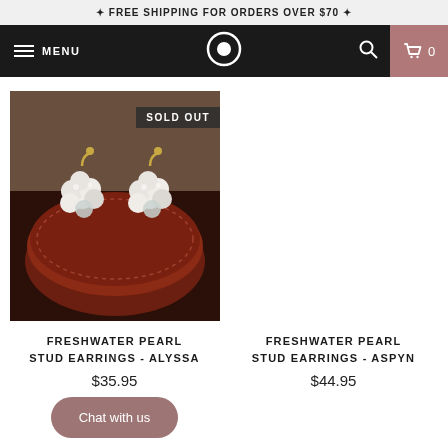✦ FREE SHIPPING FOR ORDERS OVER $70 ✦
[Figure (screenshot): E-commerce navigation bar with hamburger menu, MENU text, circular logo, search icon, and cart icon showing 0 items]
[Figure (photo): Pearl cluster stud earrings displayed on a dark red leather jewelry box, with SOLD OUT badge overlay]
FRESHWATER PEARL STUD EARRINGS - ALYSSA
$35.95
Chat with us
SALE
FRESHWATER PEARL STUD EARRINGS - ASPYN
$44.95